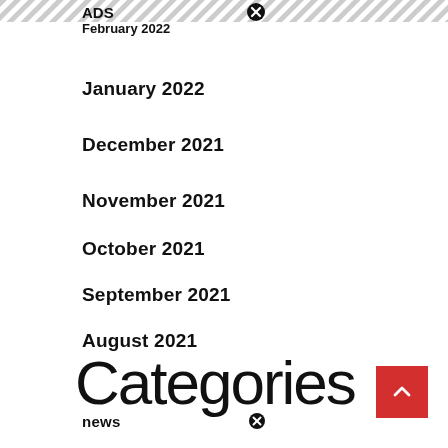ADS
February 2022
January 2022
December 2021
November 2021
October 2021
September 2021
August 2021
Categories
news